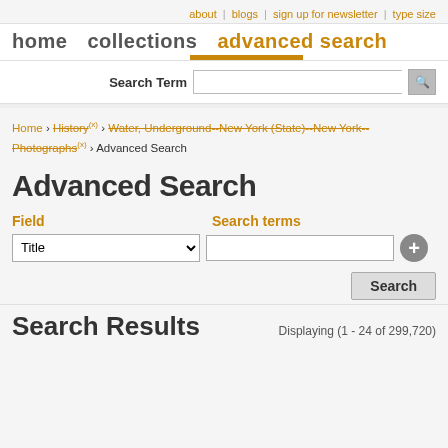about | blogs | sign up for newsletter | type size
home   collections   advanced search
Search Term [search input]
Home › History (x) › Water, Underground--New York (State)--New York--Photographs (x) › Advanced Search
Advanced Search
Field   Search terms
Title [dropdown]   [text input] [+ button]
Search [button]
Search Results   Displaying (1 - 24 of 299,720)